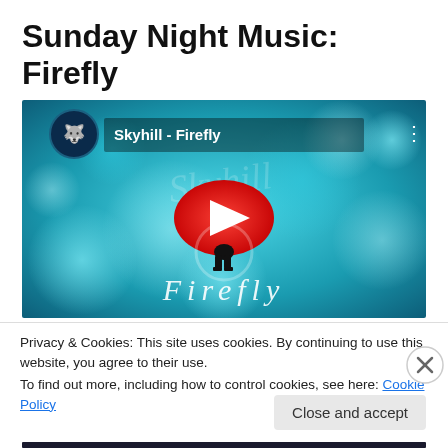Sunday Night Music: Firefly
[Figure (screenshot): YouTube video embed thumbnail showing 'Skyhill - Firefly' with a teal bokeh background, a wolf logo icon, the video title 'Skyhill - Firefly' in the top left, a red YouTube play button in the center, a small silhouetted figure, and the word 'Firefly' in white text at the bottom.]
Privacy & Cookies: This site uses cookies. By continuing to use this website, you agree to their use.
To find out more, including how to control cookies, see here: Cookie Policy
Close and accept